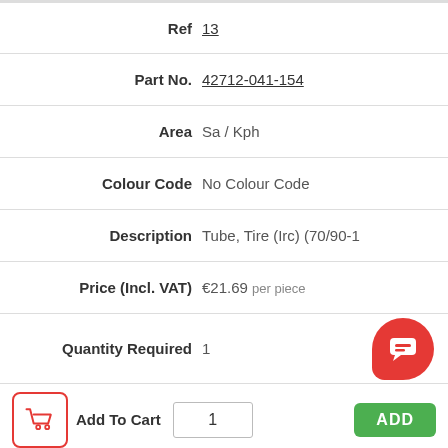| Field | Value |
| --- | --- |
| Ref | 13 |
| Part No. | 42712-041-154 |
| Area | Sa / Kph |
| Colour Code | No Colour Code |
| Description | Tube, Tire (Irc) (70/90-1 |
| Price (Incl. VAT) | €21.69 per piece |
| Quantity Required | 1 |
| Add To Cart | 1 |